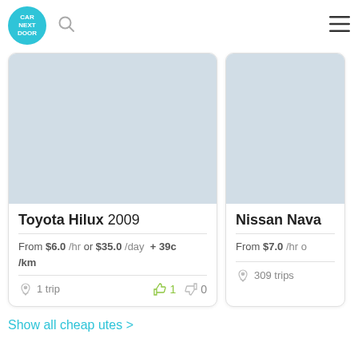[Figure (logo): Car Next Door circular teal logo]
[Figure (other): Search icon (magnifying glass)]
[Figure (other): Hamburger menu icon (three lines)]
[Figure (photo): Toyota Hilux 2009 car listing image (light blue-grey placeholder)]
Toyota Hilux 2009
From $6.0 /hr or $35.0 /day  + 39c /km
1 trip
1 (thumbs up)  0 (thumbs down)
[Figure (photo): Nissan Navara car listing image (light blue-grey placeholder, partially visible)]
Nissan Navar...
From $7.0 /hr o...
309 trips
Show all cheap utes >